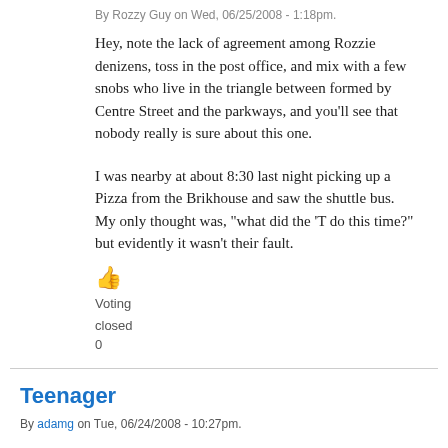By Rozzy Guy on Wed, 06/25/2008 - 1:18pm.
Hey, note the lack of agreement among Rozzie denizens, toss in the post office, and mix with a few snobs who live in the triangle between formed by Centre Street and the parkways, and you'll see that nobody really is sure about this one.
I was nearby at about 8:30 last night picking up a Pizza from the Brikhouse and saw the shuttle bus. My only thought was, "what did the 'T do this time?" but evidently it wasn't their fault.
Voting closed 0
Teenager
By adamg on Tue, 06/24/2008 - 10:27pm.